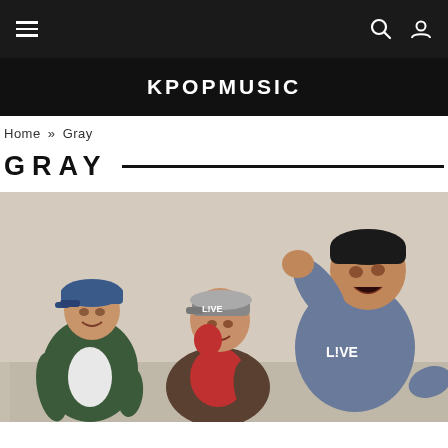KPOPMUSIC
Home » Gray
GRAY
[Figure (photo): Three young men posing for a photo, two wearing L!VE branded caps and sweatshirt, against a light background.]